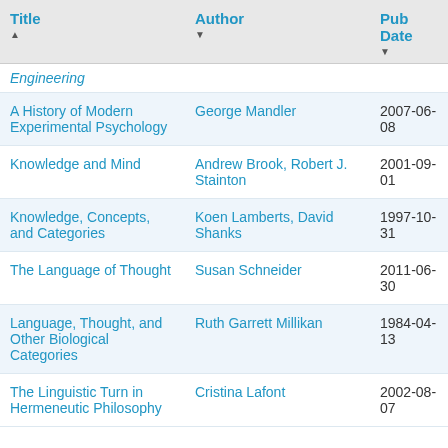| Title | Author | Pub Date |
| --- | --- | --- |
| Engineering |  |  |
| A History of Modern Experimental Psychology | George Mandler | 2007-06-08 |
| Knowledge and Mind | Andrew Brook, Robert J. Stainton | 2001-09-01 |
| Knowledge, Concepts, and Categories | Koen Lamberts, David Shanks | 1997-10-31 |
| The Language of Thought | Susan Schneider | 2011-06-30 |
| Language, Thought, and Other Biological Categories | Ruth Garrett Millikan | 1984-04-13 |
| The Linguistic Turn in Hermeneutic Philosophy | Cristina Lafont | 2002-08-07 |